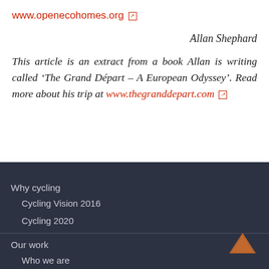www.openecohomes.org
Allan Shephard
This article is an extract from a book Allan is writing called ‘The Grand Départ – A European Odyssey’. Read more about his trip at www.thegranddepart.com
Why cycling
Cycling Vision 2016
Cycling 2020
Our work
Who we are